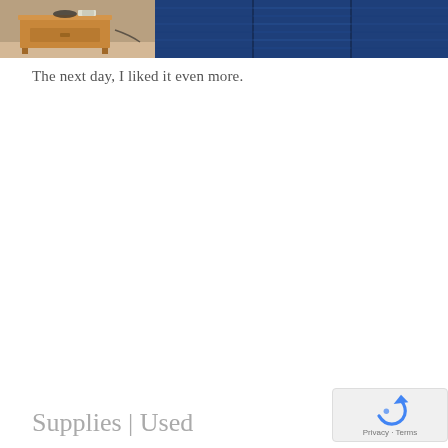[Figure (photo): Two side-by-side photos: left shows a wooden bedside table/nightstand in a room; right shows a close-up of blue jeans fabric texture.]
The next day, I liked it even more.
Supplies | Used